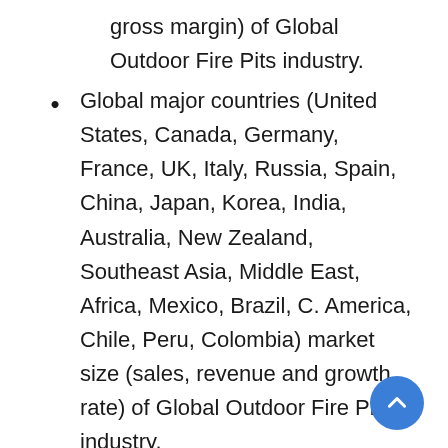gross margin) of Global Outdoor Fire Pits industry.
Global major countries (United States, Canada, Germany, France, UK, Italy, Russia, Spain, China, Japan, Korea, India, Australia, New Zealand, Southeast Asia, Middle East, Africa, Mexico, Brazil, C. America, Chile, Peru, Colombia) market size (sales, revenue and growth rate) of Global Outdoor Fire Pits industry.
Different types and applications of Global Outdoor Fire Pits industry, market share of each type and application by revenue.